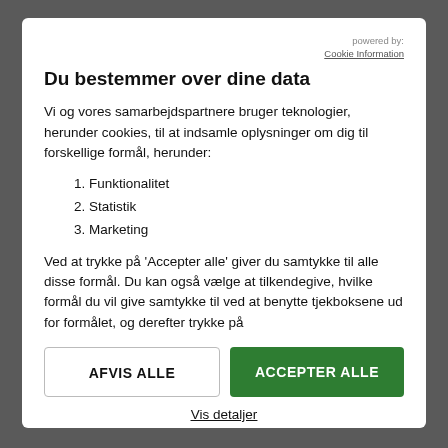powered by: Cookie Information
Du bestemmer over dine data
Vi og vores samarbejdspartnere bruger teknologier, herunder cookies, til at indsamle oplysninger om dig til forskellige formål, herunder:
1. Funktionalitet
2. Statistik
3. Marketing
Ved at trykke på 'Accepter alle' giver du samtykke til alle disse formål. Du kan også vælge at tilkendegive, hvilke formål du vil give samtykke til ved at benytte tjekboksene ud for formålet, og derefter trykke på
AFVIS ALLE
ACCEPTER ALLE
Vis detaljer